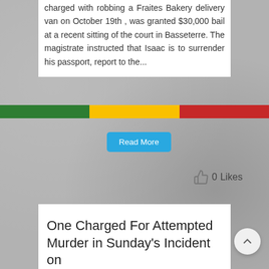charged with robbing a Fraites Bakery delivery van on October 19th , was granted $30,000 bail at a recent sitting of the court in Basseterre. The magistrate instructed that Isaac is to surrender his passport, report to the...
Read More
0  Likes
[Figure (logo): The Royal St. Christopher & Nevis Police Force logo with badge/crest on left and text on right]
One Charged For Attempted Murder in Sunday's Incident on